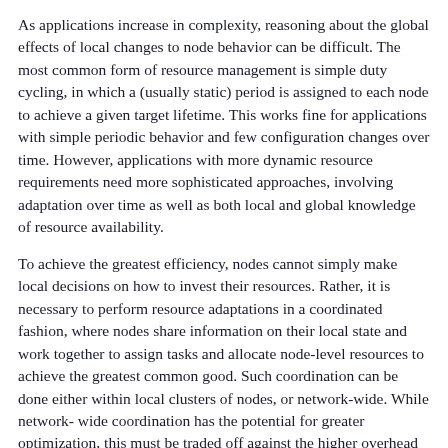As applications increase in complexity, reasoning about the global effects of local changes to node behavior can be difficult. The most common form of resource management is simple duty cycling, in which a (usually static) period is assigned to each node to achieve a given target lifetime. This works fine for applications with simple periodic behavior and few configuration changes over time. However, applications with more dynamic resource requirements need more sophisticated approaches, involving adaptation over time as well as both local and global knowledge of resource availability.
To achieve the greatest efficiency, nodes cannot simply make local decisions on how to invest their resources. Rather, it is necessary to perform resource adaptations in a coordinated fashion, where nodes share information on their local state and work together to assign tasks and allocate node-level resources to achieve the greatest common good. Such coordination can be done either within local clusters of nodes, or network-wide. While network-wide coordination has the potential for greater optimization, this must be traded off against the higher overhead for communicating demand and availability information to a centralized controller.
Existing sensor node OSs provide little support for collective resource management. TinyOS [8] and SOS [5] provide only low-level interfaces for managing the hardware state of the node...